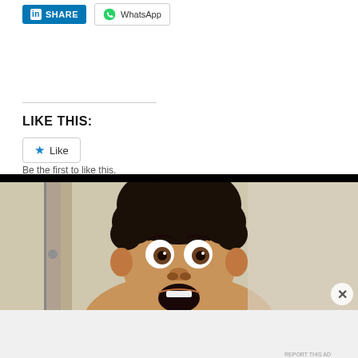[Figure (screenshot): LinkedIn Share button (blue) and WhatsApp share button at the top of a blog/article page]
LIKE THIS:
[Figure (screenshot): WordPress Like button widget with blue star icon]
Be the first to like this.
[Figure (photo): Photo of a man with curly black hair making a surprised expression, mouth open wide, looking at camera. Background appears to be a bathroom or doorway.]
Advertisements
[Figure (screenshot): Progressive Leasing advertisement banner: 'Lease-to-own at over 30,000 retail locations.' with Apply Now button and Progressive Leasing logo]